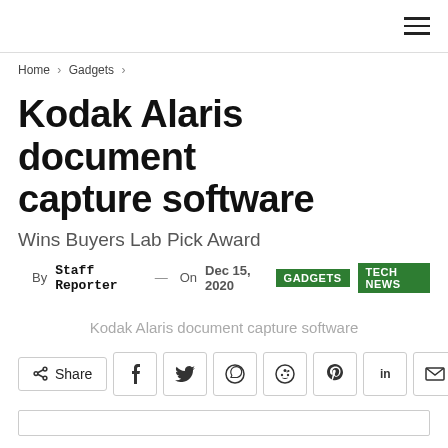≡
Home > Gadgets >
Kodak Alaris document capture software
Wins Buyers Lab Pick Award
By Staff Reporter — On Dec 15, 2020 GADGETS TECH NEWS
Kodak Alaris document capture software
Share (social share buttons: facebook, twitter, whatsapp, reddit, pinterest, linkedin, email, tumblr)